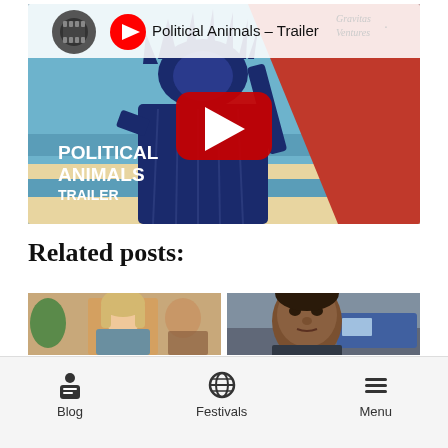[Figure (screenshot): YouTube video thumbnail for 'Political Animals - Trailer' showing a stylized graphic of the Statue of Liberty in blue and red colors with the text 'POLITICAL ANIMALS TRAILER' on the left, a YouTube play button in the center, and the Gravitas Ventures logo in the top right. The video title bar shows a film reel icon and the title 'Political Animals - Trailer'.]
Related posts:
[Figure (photo): Thumbnail photo showing a blonde woman (left) and another person, warm indoor lighting, film still.]
[Figure (photo): Thumbnail photo showing a young man of color in close-up, outdoor/overcast background, film still.]
Blog   Festivals   Menu